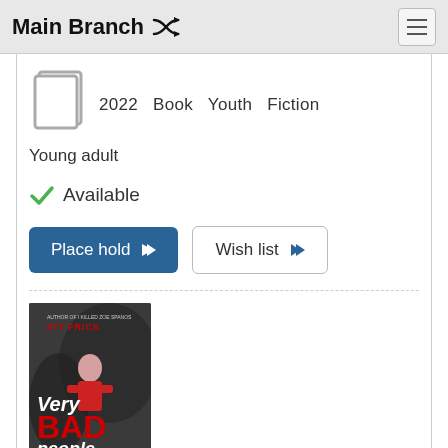Main Branch
2022  Book  Youth  Fiction
Young adult
Available
Place hold
Wish list
[Figure (illustration): Book cover for 'Very Bad People' by Kit Frick. Dark background with a girl figure. Title in white italic 'Very' and red bold 'BAD' and white italic 'people'.]